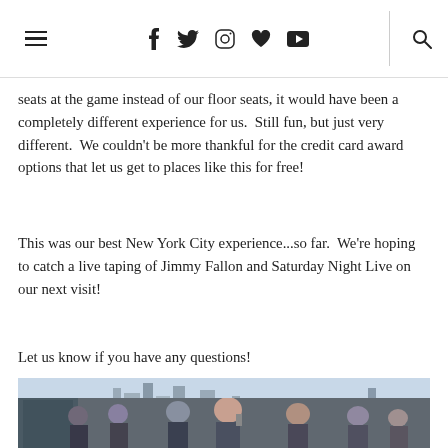Navigation header with hamburger menu, social icons (Facebook, Twitter, Instagram, Heart, YouTube), and search icon
seats at the game instead of our floor seats, it would have been a completely different experience for us.  Still fun, but just very different.  We couldn't be more thankful for the credit card award options that let us get to places like this for free!
This was our best New York City experience...so far.  We're hoping to catch a live taping of Jimmy Fallon and Saturday Night Live on our next visit!
Let us know if you have any questions!
[Figure (photo): New York City skyline viewed from across the water, with a bridge visible on the right side]
[Figure (photo): People standing outside a building, a woman talking on a phone in the center]